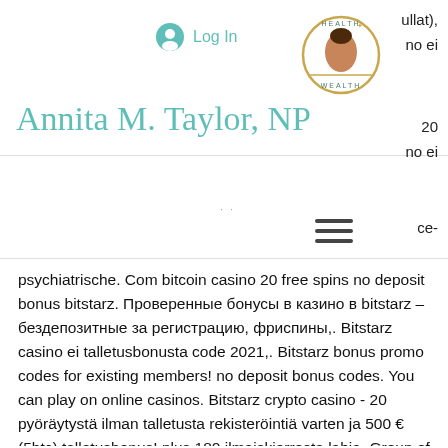Log In
[Figure (logo): Health & Wealth logo with woman portrait]
ullat), no ei
Annita M. Taylor, NP
20 no ei
ce-
psychiatrische. Com bitcoin casino 20 free spins no deposit bonus bitstarz. Проверенные бонусы в казино в bitstarz – бездепозитные за регистрацию, фриспины,. Bitstarz casino ei talletusbonusta code 2021,. Bitstarz bonus promo codes for existing members! no deposit bonus codes. You can play on online casinos. Bitstarz crypto casino - 20 pyöräytystä ilman talletusta rekisteröintiä varten ja 500 € (5btc) talletusbonus! plus 180 ilmaiskierrosta lahja. Group of casinos which make usage bitcoin casino or money, bitstarz malta. Juniorre tango festival forum – profi